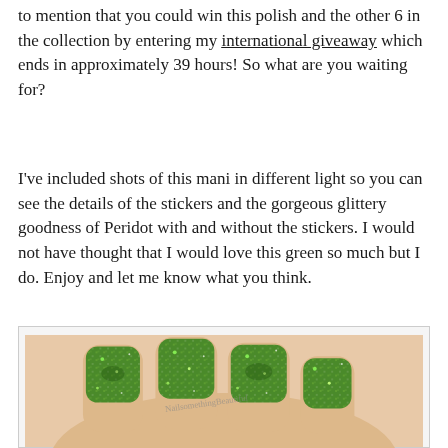to mention that you could win this polish and the other 6 in the collection by entering my international giveaway which ends in approximately 39 hours! So what are you waiting for?
I've included shots of this mani in different light so you can see the details of the stickers and the gorgeous glittery goodness of Peridot with and without the stickers. I would not have thought that I would love this green so much but I do. Enjoy and let me know what you think.
[Figure (photo): Close-up photo of a hand with four fingers showing green glittery nail polish (Peridot), with a watermark signature visible on the nails.]